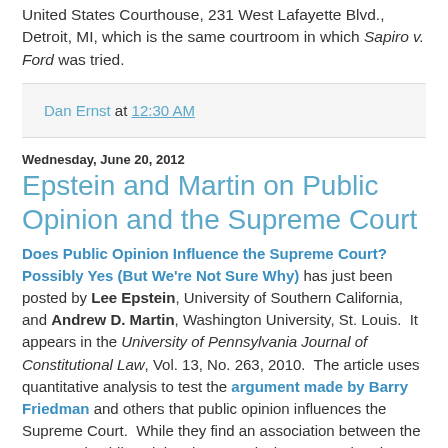United States Courthouse, 231 West Lafayette Blvd., Detroit, MI, which is the same courtroom in which Sapiro v. Ford was tried.
Dan Ernst at 12:30 AM
Wednesday, June 20, 2012
Epstein and Martin on Public Opinion and the Supreme Court
Does Public Opinion Influence the Supreme Court? Possibly Yes (But We're Not Sure Why) has just been posted by Lee Epstein, University of Southern California, and Andrew D. Martin, Washington University, St. Louis. It appears in the University of Pennsylvania Journal of Constitutional Law, Vol. 13, No. 263, 2010. The article uses quantitative analysis to test the argument made by Barry Friedman and others that public opinion influences the Supreme Court. While they find an association between the Court and public opinion, importantly they stress that the